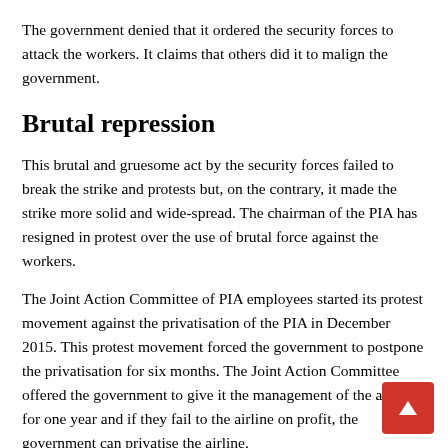The government denied that it ordered the security forces to attack the workers. It claims that others did it to malign the government.
Brutal repression
This brutal and gruesome act by the security forces failed to break the strike and protests but, on the contrary, it made the strike more solid and wide-spread. The chairman of the PIA has resigned in protest over the use of brutal force against the workers.
The Joint Action Committee of PIA employees started its protest movement against the privatisation of the PIA in December 2015. This protest movement forced the government to postpone the privatisation for six months. The Joint Action Committee offered the government to give it the management of the airline for one year and if they fail to the airline on profit, the government can privatise the airline.